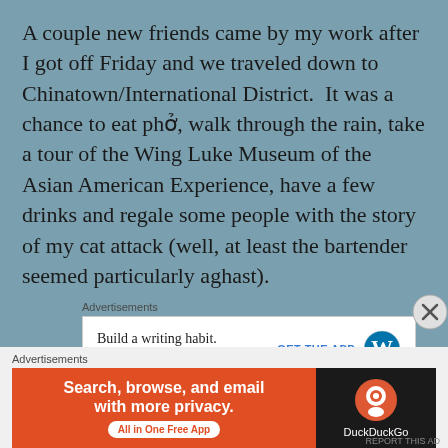A couple new friends came by my work after I got off Friday and we traveled down to Chinatown/International District.  It was a chance to eat phở, walk through the rain, take a tour of the Wing Luke Museum of the Asian American Experience, have a few drinks and regale some people with the story of my cat attack (well, at least the bartender seemed particularly aghast).
Advertisements
[Figure (screenshot): Advertisement banner: 'Build a writing habit. Post on the go.' with 'GET THE APP' button and WordPress logo]
Advertisements
[Figure (screenshot): DuckDuckGo advertisement: 'Search, browse, and email with more privacy. All in One Free App' with DuckDuckGo logo on dark background]